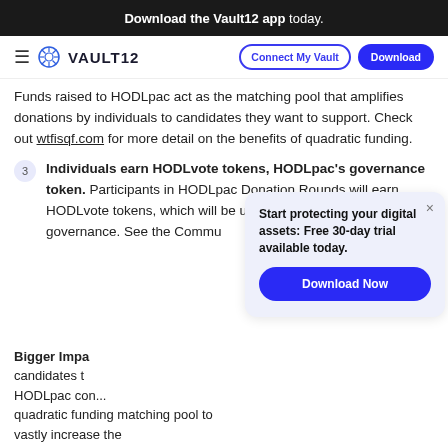Download the Vault12 app today.
VAULT12 | Connect My Vault | Download
Funds raised to HODLpac act as the matching pool that amplifies donations by individuals to candidates they want to support. Check out wtfisqf.com for more detail on the benefits of quadratic funding.
3. Individuals earn HODLvote tokens, HODLpac's governance token. Participants in HODLpac Donation Rounds will earn HODLvote tokens, which will be used for HODLpac community governance. See the Commu...
[Figure (infographic): Popup modal with text: Start protecting your digital assets: Free 30-day trial available today. With a Download Now button and an X close icon.]
Bigger Impa... candidates t... HODLpac con... quadratic funding matching pool to vastly increase the